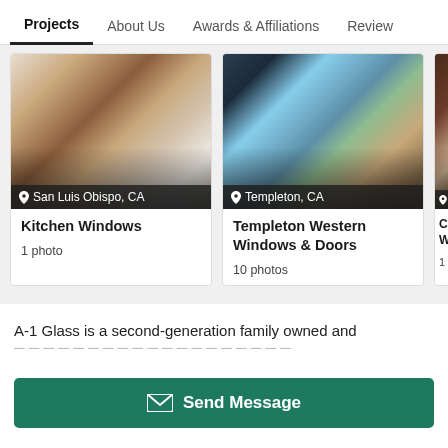Projects | About Us | Awards & Affiliations | Review
[Figure (photo): Kitchen interior with wooden cabinets, open shelving, and countertops. Location: San Luis Obispo, CA]
Kitchen Windows
1 photo
[Figure (photo): Modern home exterior with large glass windows/doors and hillside landscape. Location: Templeton, CA]
Templeton Western Windows & Doors
10 photos
[Figure (photo): Partial view of windows. Location partially visible starting with S]
Cu... Win...
1 ph...
A-1 Glass is a second-generation family owned and
Send Message